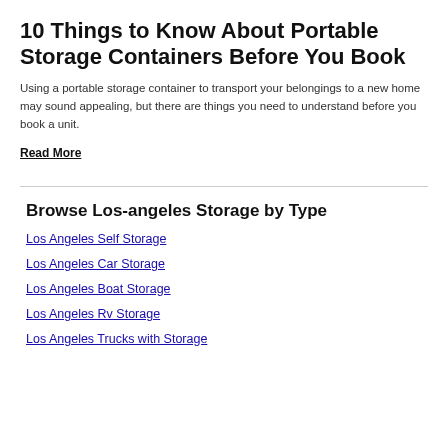10 Things to Know About Portable Storage Containers Before You Book
Using a portable storage container to transport your belongings to a new home may sound appealing, but there are things you need to understand before you book a unit.
Read More
Browse Los-angeles Storage by Type
Los Angeles Self Storage
Los Angeles Car Storage
Los Angeles Boat Storage
Los Angeles Rv Storage
Los Angeles Trucks with Storage